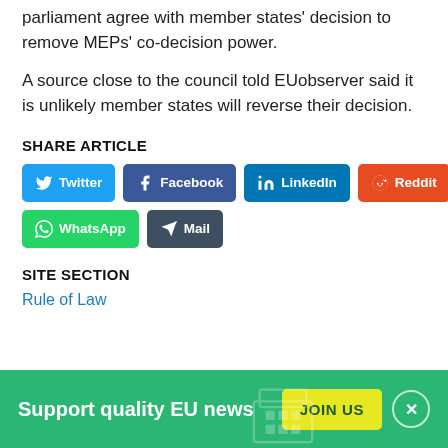But he noted the majority of legal experts in the parliament agree with member states' decision to remove MEPs' co-decision power.
A source close to the council told EUobserver said it is unlikely member states will reverse their decision.
SHARE ARTICLE
[Figure (infographic): Social share buttons: Twitter (blue), Facebook (dark blue), LinkedIn (blue), Reddit (orange), WhatsApp (green), Mail (dark grey)]
SITE SECTION
Rule of Law
Support quality EU news  JOIN US